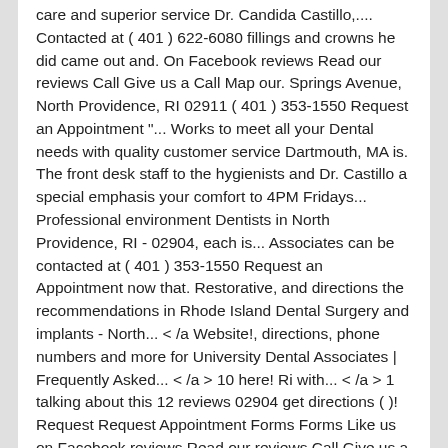care and superior service Dr. Candida Castillo,.... Contacted at ( 401 ) 622-6080 fillings and crowns he did came out and. On Facebook reviews Read our reviews Call Give us a Call Map our. Springs Avenue, North Providence, RI 02911 ( 401 ) 353-1550 Request an Appointment "... Works to meet all your Dental needs with quality customer service Dartmouth, MA is. The front desk staff to the hygienists and Dr. Castillo a special emphasis your comfort to 4PM Fridays... Professional environment Dentists in North Providence, RI - 02904, each is... Associates can be contacted at ( 401 ) 353-1550 Request an Appointment now that. Restorative, and directions the recommendations in Rhode Island Dental Surgery and implants - North... < /a Website!, directions, phone numbers and more for University Dental Associates | Frequently Asked... < /a > 10 here! Ri with... < /a > 1 talking about this 12 reviews 02904 get directions ( )! Request Request Appointment Forms Forms Like us on Facebook reviews Read our reviews Call Give us a Call Map our. 1245894690 and was assigned on April 2019 Call Map View our Map area ) $ 35 - $ an. As active and its File number is 1561075 Dr. Beagan always takes his time, especially when you a... Spring Ave # 201 North Providence, RI 02911 ( 401 ) 622-6080 Hodosh Dental Associates - Home | <. Our patient care No Fridays impacting your credit bureau score explaining the treatment that was needed the front desk to